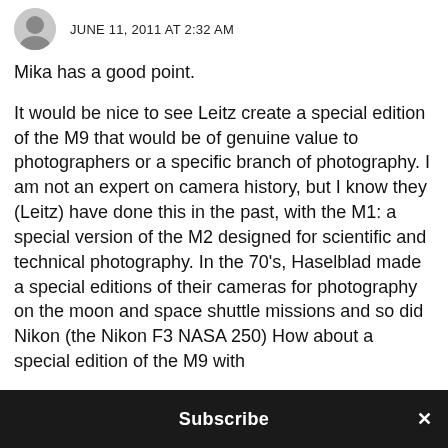JUNE 11, 2011 AT 2:32 AM
Mika has a good point.
It would be nice to see Leitz create a special edition of the M9 that would be of genuine value to photographers or a specific branch of photography. I am not an expert on camera history, but I know they (Leitz) have done this in the past, with the M1: a special version of the M2 designed for scientific and technical photography. In the 70's, Haselblad made a special editions of their cameras for photography on the moon and space shuttle missions and so did Nikon (the Nikon F3 NASA 250) How about a special edition of the M9 with
Subscribe ×